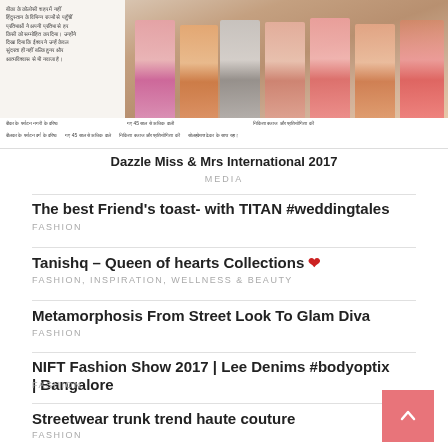[Figure (photo): Top portion of a newspaper article card with Hindi text on the left and a photo of women in traditional Indian attire on the right]
Dazzle Miss & Mrs International 2017
MEDIA
The best Friend’s toast- with TITAN #weddingtales
FASHION
Tanishq – Queen of hearts Collections ❤
FASHION, INSPIRATION, WELLNESS & BEAUTY
Metamorphosis From Street Look To Glam Diva
FASHION
NIFT Fashion Show 2017 | Lee Denims #bodyoptix | Bangalore
FASHION
Streetwear trunk trend haute couture
FASHION